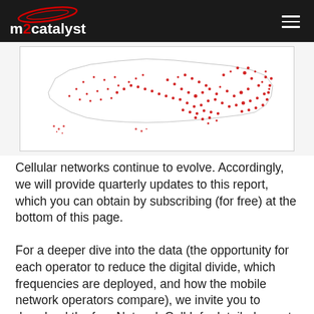m2catalyst
[Figure (map): Map of the United States shown in red and black dots/marks indicating cellular network coverage across the country.]
Cellular networks continue to evolve.  Accordingly, we will provide quarterly updates to this report, which you can obtain by subscribing (for free) at the bottom of this page.
For a deeper dive into the data (the opportunity for each operator to reduce the digital divide, which frequencies are deployed, and how the mobile network operators compare), we invite you to download the free Network Cell Info detailed report by clicking the button below.